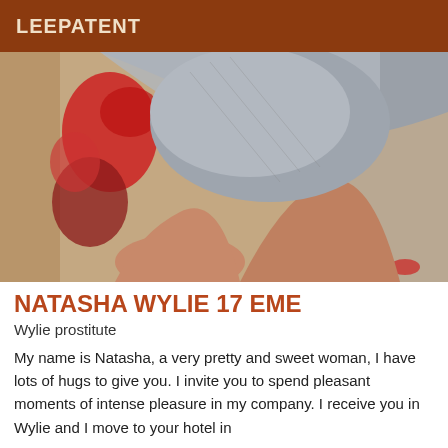LEEPATENT
[Figure (photo): Close-up photo of a woman's legs and lower body wearing a grey dress, posed on a patterned rug with red and grey designs.]
NATASHA WYLIE 17 EME
Wylie prostitute
My name is Natasha, a very pretty and sweet woman, I have lots of hugs to give you. I invite you to spend pleasant moments of intense pleasure in my company. I receive you in Wylie and I move to your hotel in